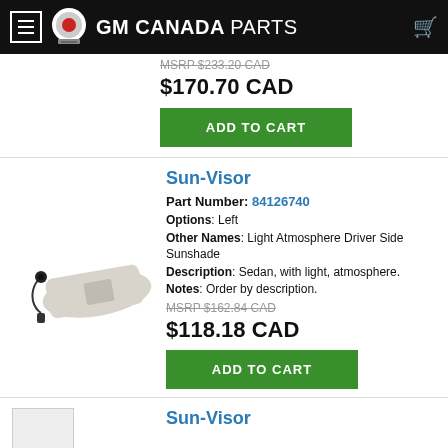GM CANADA PARTS
MSRP $233.20 CAD
$170.70 CAD
ADD TO CART
Sun-Visor
Part Number: 84126740
Options: Left
Other Names: Light Atmosphere Driver Side Sunshade
Description: Sedan, with light, atmosphere.
Notes: Order by description.
MSRP $162.84 CAD
$118.18 CAD
ADD TO CART
Sun-Visor